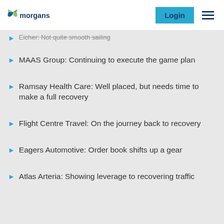morgans | Login
Eicher: Not quite smooth sailing
MAAS Group: Continuing to execute the game plan
Ramsay Health Care: Well placed, but needs time to make a full recovery
Flight Centre Travel: On the journey back to recovery
Eagers Automotive: Order book shifts up a gear
Atlas Arteria: Showing leverage to recovering traffic